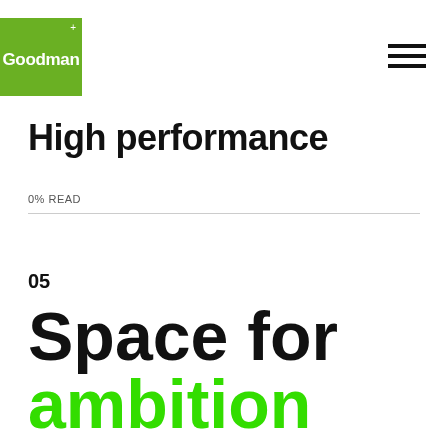Goodman+
High performance
0% READ
05
Space for ambition